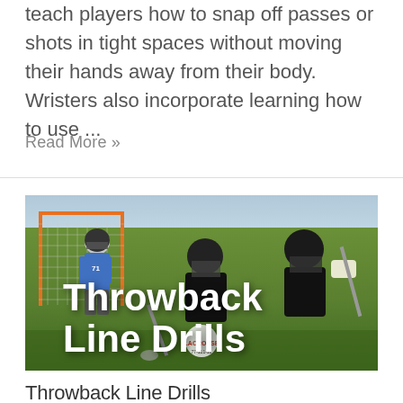teach players how to snap off passes or shots in tight spaces without moving their hands away from their body. Wristers also incorporate learning how to use ...
Read More »
[Figure (photo): Lacrosse players on a field with an orange goal net; overlaid bold white text reads 'Throwback Line Drills']
Throwback Line Drills